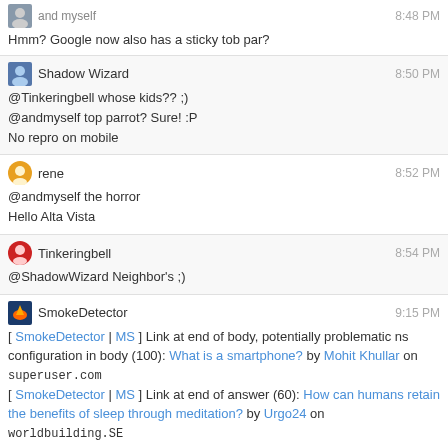Hmm? Google now also has a sticky tob par?
Shadow Wizard 8:50 PM
@Tinkeringbell whose kids?? ;)
@andmyself top parrot? Sure! :P
No repro on mobile
rene 8:52 PM
@andmyself the horror
Hello Alta Vista
Tinkeringbell 8:54 PM
@ShadowWizard Neighbor's ;)
SmokeDetector 9:15 PM
[ SmokeDetector | MS ] Link at end of body, potentially problematic ns configuration in body (100): What is a smartphone? by Mohit Khullar on superuser.com
[ SmokeDetector | MS ] Link at end of answer (60): How can humans retain the benefits of sleep through meditation? by Urgo24 on worldbuilding.SE
and myself 9:27 PM
What does it mean if a link to a question returns 404 even if you have a privilege to see deleted questions something? anime.stackexchange.com/questions/50019 returns 404 even for me... is it a deleted tag excerpt/wiki?
Mithrandir 9:28 PM
That's possible